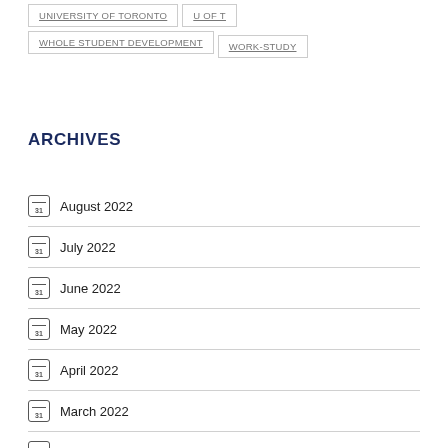UNIVERSITY OF TORONTO
U OF T
WHOLE STUDENT DEVELOPMENT
WORK-STUDY
ARCHIVES
August 2022
July 2022
June 2022
May 2022
April 2022
March 2022
February 2022